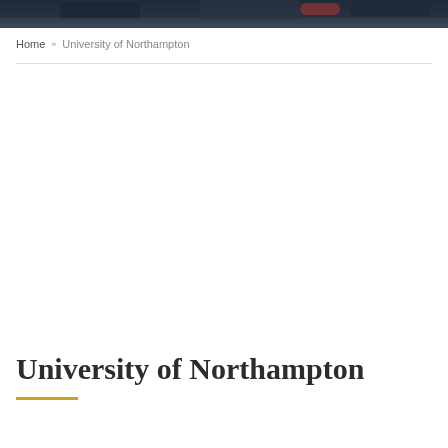[Figure (photo): Dark banner image showing graduation ceremony attendees wearing caps, partial crop at top of page]
Home » University of Northampton
University of Northampton